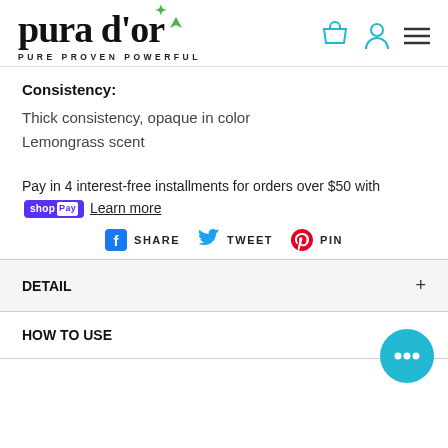[Figure (logo): Pura d'or logo with green leaf accent and tagline PURE PROVEN POWERFUL]
Consistency:
Thick consistency, opaque in color
Lemongrass scent
Pay in 4 interest-free installments for orders over $50 with Shop Pay  Learn more
SHARE  TWEET  PIN
DETAIL
HOW TO USE